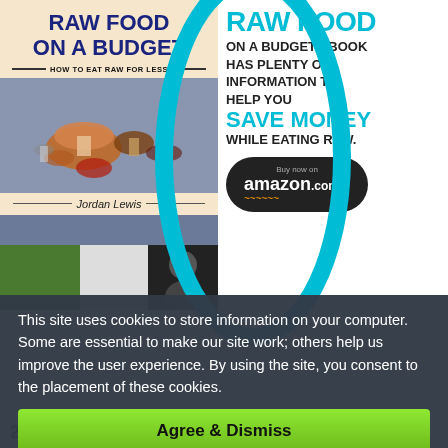[Figure (illustration): Advertisement for 'Raw Food on a Budget' ebook showing book cover on left with mushrooms image and author Jordan Lewis, and on right a teal circle graphic with text about saving money while eating raw, plus an Amazon buy button]
This site uses cookies to store information on your computer. Some are essential to make our site work; others help us improve the user experience. By using the site, you consent to the placement of these cookies.
Agree & Dismiss
2. Sweet 10 Lollipop Chocolate Bark Milk...